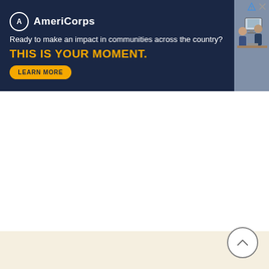[Figure (infographic): AmeriCorps banner advertisement. Dark navy background. AmeriCorps logo (circle with A) on left, tagline: 'Ready to make an impact in communities across the country?', bold yellow headline: 'THIS IS YOUR MOMENT.', yellow 'LEARN MORE' button. Right side shows a photo of people at a computer.]
[Figure (screenshot): Collapse/minimize chevron button (caret up) in a white rounded rectangle below the banner.]
[Figure (screenshot): Scroll-to-top circular button with chevron up icon, positioned in the bottom-right corner over a cream/beige background section.]